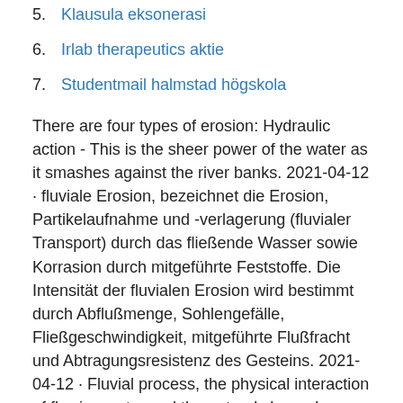5. Klausula eksonerasi
6. Irlab therapeutics aktie
7. Studentmail halmstad högskola
There are four types of erosion: Hydraulic action - This is the sheer power of the water as it smashes against the river banks. 2021-04-12 · fluviale Erosion, bezeichnet die Erosion, Partikelaufnahme und -verlagerung (fluvialer Transport) durch das fließende Wasser sowie Korrasion durch mitgeführte Feststoffe. Die Intensität der fluvialen Erosion wird bestimmt durch Abflußmenge, Sohlengefälle, Fließgeschwindigkeit, mitgeführte Flußfracht und Abtragungsresistenz des Gesteins. 2021-04-12 · Fluvial process, the physical interaction of flowing water and the natural channels